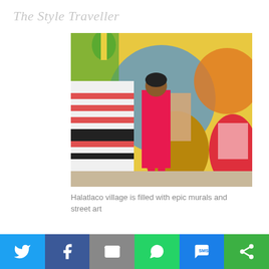The Style Traveller
[Figure (photo): Woman in pink dress posing in front of a colorful mural depicting traditional Mexican dancers in Huatulco village]
Halatlaco village is filled with epic murals and street art
What to do in Oaxaca?